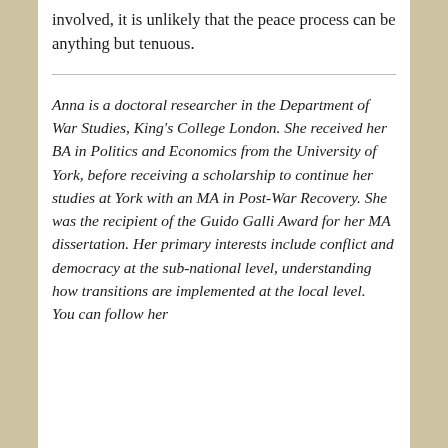involved, it is unlikely that the peace process can be anything but tenuous.
Anna is a doctoral researcher in the Department of War Studies, King's College London. She received her BA in Politics and Economics from the University of York, before receiving a scholarship to continue her studies at York with an MA in Post-War Recovery. She was the recipient of the Guido Galli Award for her MA dissertation. Her primary interests include conflict and democracy at the sub-national level, understanding how transitions are implemented at the local level.  You can follow her